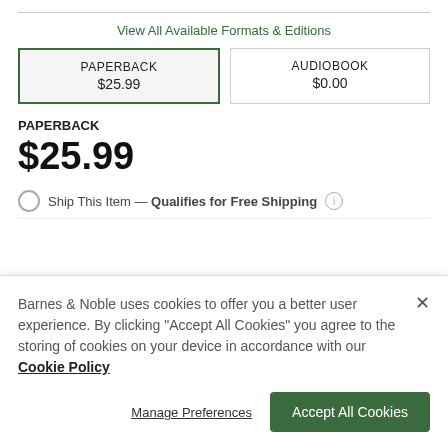View All Available Formats & Editions
| PAPERBACK
$25.99 | AUDIOBOOK
$0.00 |
PAPERBACK
$25.99
Ship This Item — Qualifies for Free Shipping
Barnes & Noble uses cookies to offer you a better user experience. By clicking "Accept All Cookies" you agree to the storing of cookies on your device in accordance with our Cookie Policy
Manage Preferences
Accept All Cookies